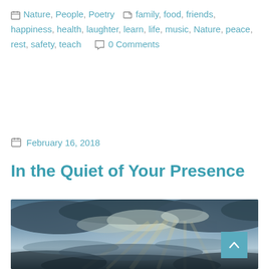Nature, People, Poetry   family, food, friends, happiness, health, laughter, learn, life, music, Nature, peace, rest, safety, teach   0 Comments
February 16, 2018
In the Quiet of Your Presence
[Figure (photo): Dramatic sky photograph showing sunbeams breaking through heavy storm clouds over a dark landscape, with rays of light streaming downward.]